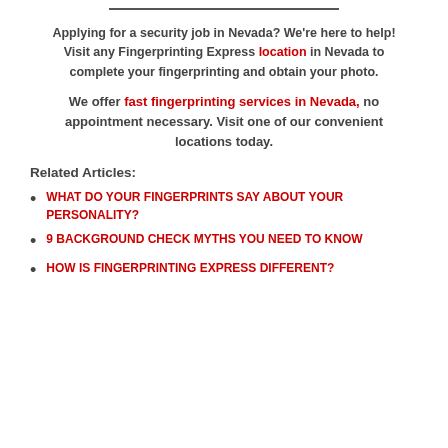Applying for a security job in Nevada? We're here to help! Visit any Fingerprinting Express location in Nevada to complete your fingerprinting and obtain your photo.
We offer fast fingerprinting services in Nevada, no appointment necessary. Visit one of our convenient locations today.
Related Articles:
WHAT DO YOUR FINGERPRINTS SAY ABOUT YOUR PERSONALITY?
9 BACKGROUND CHECK MYTHS YOU NEED TO KNOW
HOW IS FINGERPRINTING EXPRESS DIFFERENT?